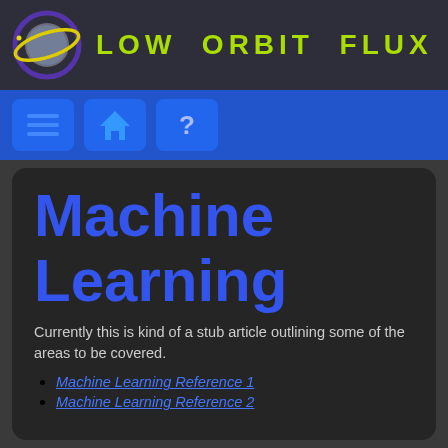Low Orbit Flux
Machine Learning
Currently this is kind of a stub article outlining some of the areas to be covered.
Machine Learning Reference 1
Machine Learning Reference 2